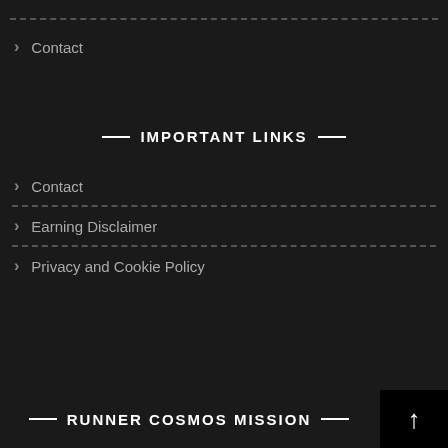Contact
IMPORTANT LINKS
Contact
Earning Disclaimer
Privacy and Cookie Policy
RUNNER COSMOS MISSION